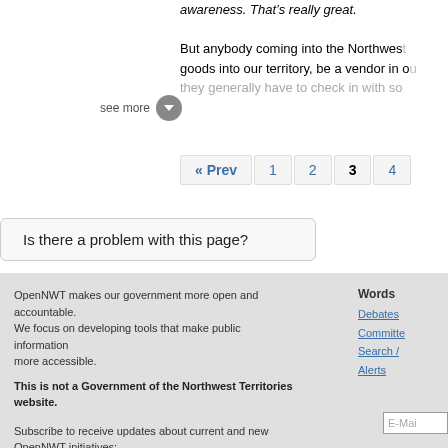awareness. That's really great.
But anybody coming into the Northwest goods into our territory, be a vendor in o they generally have to check in with so
see more
« Prev 1 2 3 4
Is there a problem with this page?
OpenNWT makes our government more open and accountable. We focus on developing tools that make public information more accessible.
This is not a Government of the Northwest Territories website.
Subscribe to receive updates about current and new OpenNWT initiatives:
Words
Debates
Committe
Search /
Alerts
E-Mai